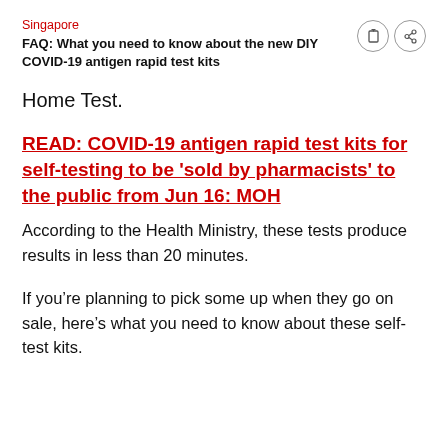Singapore
FAQ: What you need to know about the new DIY COVID-19 antigen rapid test kits
Home Test.
READ: COVID-19 antigen rapid test kits for self-testing to be 'sold by pharmacists' to the public from Jun 16: MOH
According to the Health Ministry, these tests produce results in less than 20 minutes.
If you’re planning to pick some up when they go on sale, here’s what you need to know about these self-test kits.